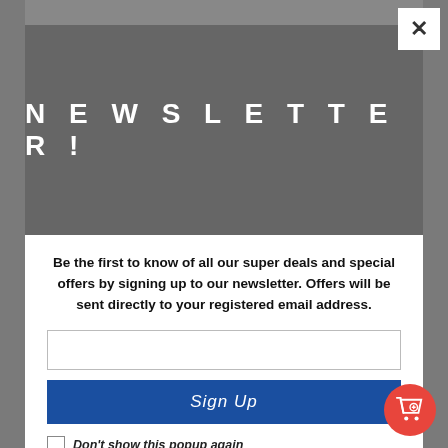NEWSLETTER!
Be the first to know of all our super deals and special offers by signing up to our newsletter. Offers will be sent directly to your registered email address.
Sign Up
Don't show this popup again